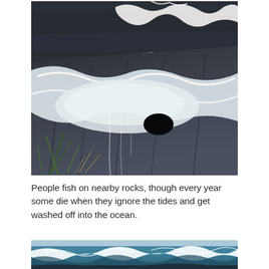[Figure (photo): Coastal rocky shoreline with waves washing over dark layered rocks. White sea foam covers the rock surface. A cave-like hole visible in the rock. Green vegetation visible at lower left. Waves and turbulent water in the background.]
People fish on nearby rocks, though every year some die when they ignore the tides and get washed off into the ocean.
[Figure (photo): Ocean waves crashing, with white foam. Dark rocky shoreline visible at the bottom. Teal/blue water with large breaking waves.]